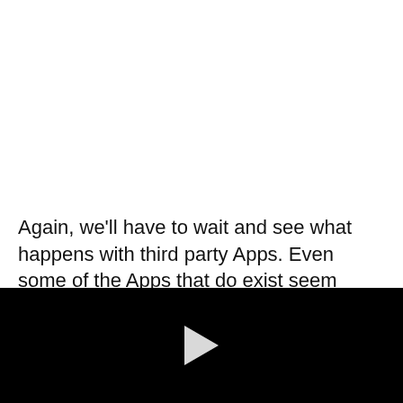Again, we'll have to wait and see what happens with third party Apps. Even some of the Apps that do exist seem
[Figure (other): Black video player panel with a white play button triangle in the center]